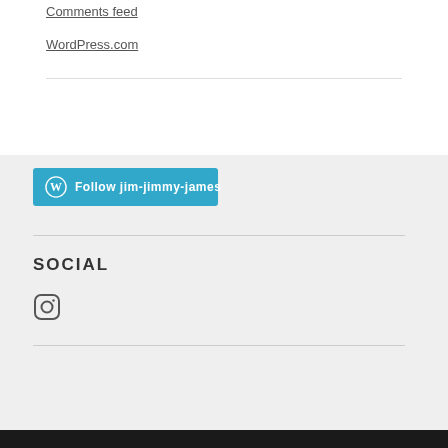Comments feed
WordPress.com
[Figure (other): Follow jim-jimmy-james button with WordPress logo icon on cyan/blue background]
SOCIAL
[Figure (other): Instagram icon link]